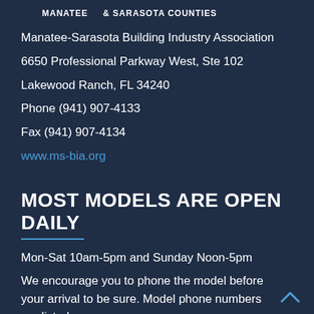MANATEE & SARASOTA COUNTIES
Manatee-Sarasota Building Industry Association
6650 Professional Parkway West, Ste 102
Lakewood Ranch, FL 34240
Phone (941) 907-4133
Fax (941) 907-4134
www.ms-bia.org
MOST MODELS ARE OPEN DAILY
Mon-Sat 10am-5pm and Sunday Noon-5pm
We encourage you to phone the model before your arrival to be sure. Model phone numbers are listed on